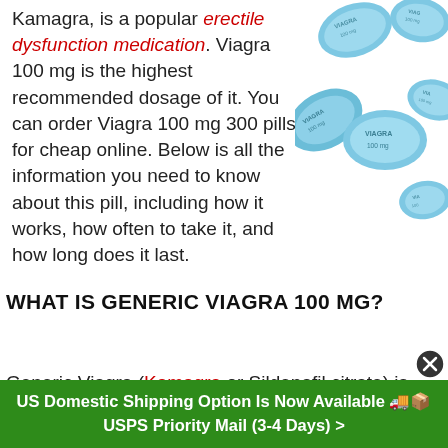Kamagra, is a popular erectile dysfunction medication. Viagra 100 mg is the highest recommended dosage of it. You can order Viagra 100 mg 300 pills for cheap online. Below is all the information you need to know about this pill, including how it works, how often to take it, and how long does it last.
[Figure (photo): Multiple blue diamond-shaped Viagra 100 mg pills scattered]
WHAT IS GENERIC VIAGRA 100 MG?
Generic Viagra (Kamagra or Sildenafil citrate) is the same...
US Domestic Shipping Option Is Now Available 🚚📦 USPS Priority Mail (3-4 Days) >